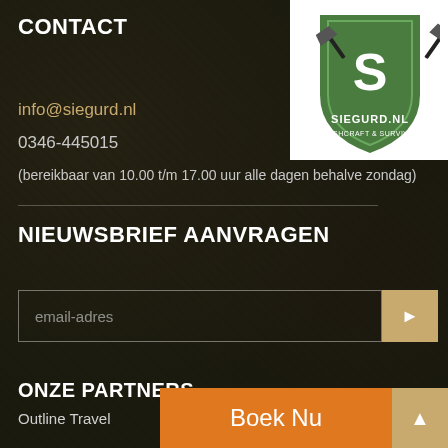CONTACT
[Figure (logo): Siegurd.nl Bushcraft & Survival logo — white shield with crossed axes and letter S, text SIEGURD.NL BUSHCRAFT & SURVIVAL]
info@siegurd.nl
0346-445015
(bereikbaar van 10.00 t/m 17.00 uur alle dagen behalve zondag)
NIEUWSBRIEF AANVRAGEN
email-adres
ONZE PARTNERS
Boek Nu
Outline Travel